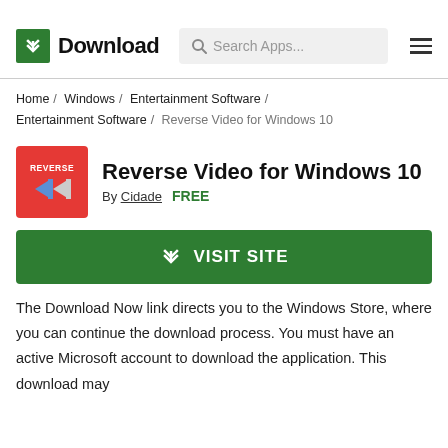Download  Search Apps...
Home / Windows / Entertainment Software / Entertainment Software / Reverse Video for Windows 10
Reverse Video for Windows 10
By Cidade   FREE
VISIT SITE
The Download Now link directs you to the Windows Store, where you can continue the download process. You must have an active Microsoft account to download the application. This download may